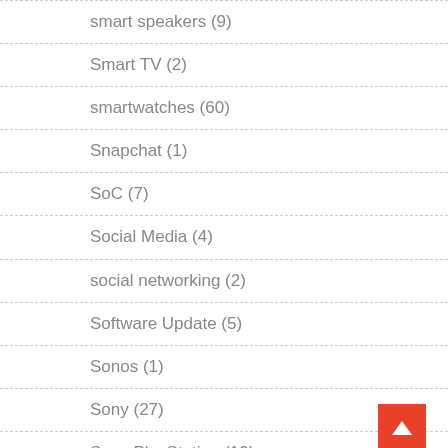smart speakers (9)
Smart TV (2)
smartwatches (60)
Snapchat (1)
SoC (7)
Social Media (4)
social networking (2)
Software Update (5)
Sonos (1)
Sony (27)
Sony PlayStation (19)
Sony Xperia (10)